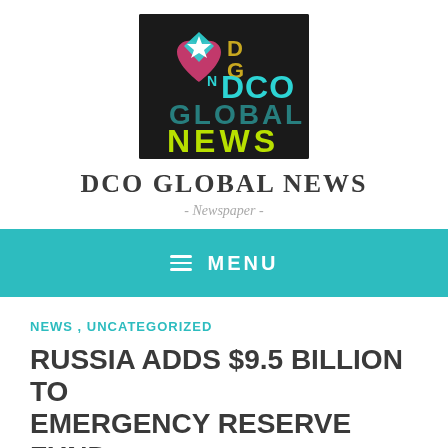[Figure (logo): DCO Global News logo on dark background with colorful lettering including teal, yellow-green, and gold text saying DCO GLOBAL NEWS with a pink heart and teal star icon]
DCO GLOBAL NEWS
- Newspaper -
MENU
NEWS, UNCATEGORIZED
RUSSIA ADDS $9.5 BILLION TO EMERGENCY RESERVE FUND